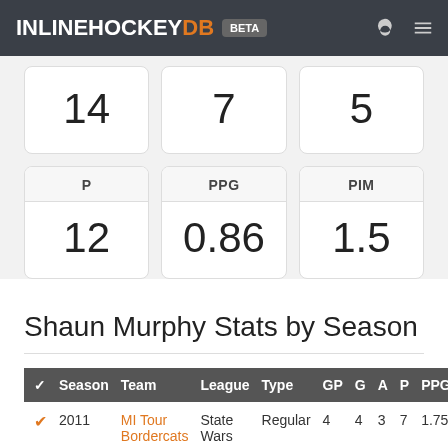INLINEHOCKEYDB BETA
| 14 | 7 | 5 |
| P | PPG | PIM |
| --- | --- | --- |
| 12 | 0.86 | 1.5 |
Shaun Murphy Stats by Season
| ✓ | Season | Team | League | Type | GP | G | A | P | PPG |
| --- | --- | --- | --- | --- | --- | --- | --- | --- | --- |
| ✓ | 2011 | MI Tour Bordercats | State Wars | Regular | 4 | 4 | 3 | 7 | 1.75 |